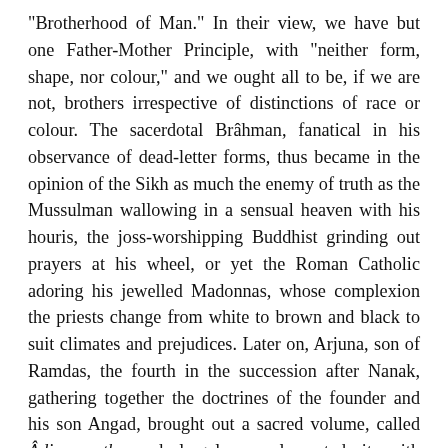"Brotherhood of Man." In their view, we have but one Father-Mother Principle, with "neither form, shape, nor colour," and we ought all to be, if we are not, brothers irrespective of distinctions of race or colour. The sacerdotal Brâhman, fanatical in his observance of dead-letter forms, thus became in the opinion of the Sikh as much the enemy of truth as the Mussulman wallowing in a sensual heaven with his houris, the joss-worshipping Buddhist grinding out prayers at his wheel, or yet the Roman Catholic adoring his jewelled Madonnas, whose complexion the priests change from white to brown and black to suit climates and prejudices. Later on, Arjuna, son of Ramdas, the fourth in the succession after Nanak, gathering together the doctrines of the founder and his son Angad, brought out a sacred volume, called Âdi-garunth, and largely supplemented it with selections from forty-five Sûtras of the Jains. W[Top] adopting equally the religious figures of the Vedas and Koran, after sifting them and explaining their